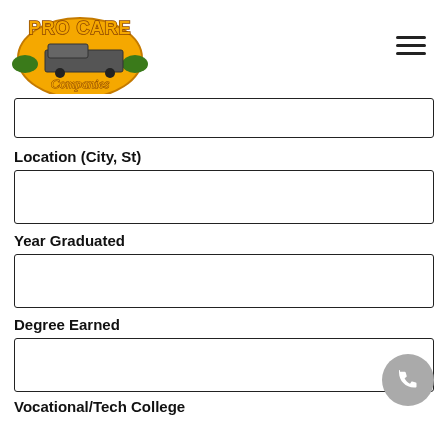[Figure (logo): Pro Care Companies logo with yellow/orange text and green truck graphic]
(empty input field)
Location (City, St)
(empty input field)
Year Graduated
(empty input field)
Degree Earned
(empty input field)
Vocational/Tech College